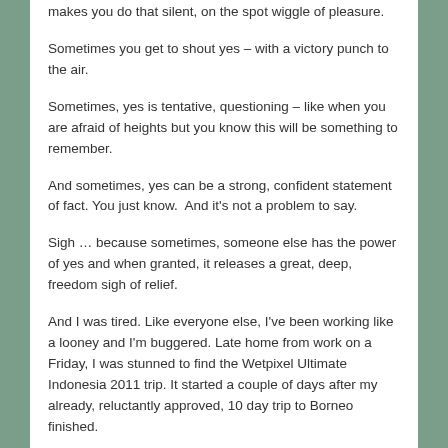makes you do that silent, on the spot wiggle of pleasure.
Sometimes you get to shout yes – with a victory punch to the air.
Sometimes, yes is tentative, questioning – like when you are afraid of heights but you know this will be something to remember.
And sometimes, yes can be a strong, confident statement of fact. You just know.  And it's not a problem to say.
Sigh … because sometimes, someone else has the power of yes and when granted, it releases a great, deep, freedom sigh of relief.
And I was tired. Like everyone else, I've been working like a looney and I'm buggered. Late home from work on a Friday, I was stunned to find the Wetpixel Ultimate Indonesia 2011 trip. It started a couple of days after my already, reluctantly approved, 10 day trip to Borneo finished.